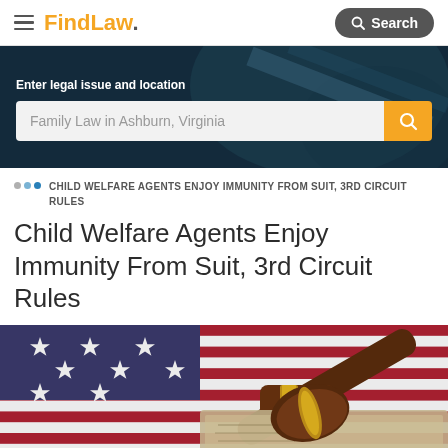FindLaw — Search
[Figure (screenshot): Hero banner with dark blue/teal background showing legal imagery (gavel and scales). Contains search interface with label 'Enter legal issue and location' and search field placeholder 'Family Law in Ashburn, Virginia' with orange search button.]
CHILD WELFARE AGENTS ENJOY IMMUNITY FROM SUIT, 3RD CIRCUIT RULES
Child Welfare Agents Enjoy Immunity From Suit, 3rd Circuit Rules
[Figure (photo): Photo of an American flag with stars visible and a wooden judge's gavel with gold band resting on what appears to be a legal document or scroll.]